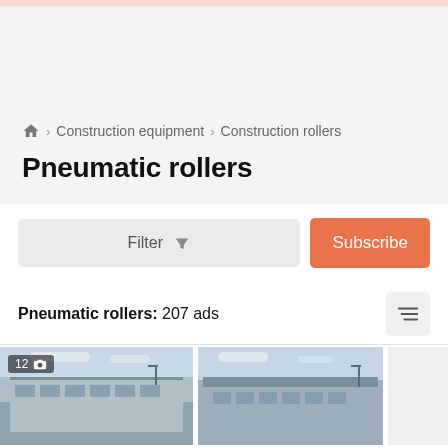Home > Construction equipment > Construction rollers
Pneumatic rollers
Filter
Subscribe
Pneumatic rollers: 207 ads
[Figure (photo): Thumbnail image of a construction building, labeled 12 photos]
[Figure (photo): Thumbnail image of a construction building]